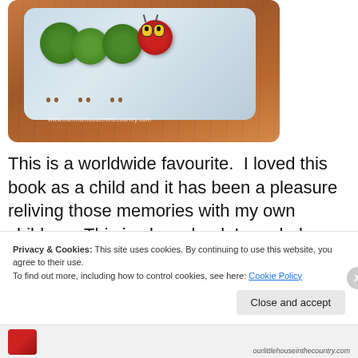[Figure (photo): Photo of a children's board book (The Very Hungry Caterpillar) with illustrated caterpillar characters on a wooden surface. Watermark text reads www.ourlittlehouseinthecountry.com]
This is a worldwide favourite.  I loved this book as a child and it has been a pleasure reliving those memories with my own children.  This is also a book I regularly recommend to teachers as a resource for teaching life
Privacy & Cookies: This site uses cookies. By continuing to use this website, you agree to their use.
To find out more, including how to control cookies, see here: Cookie Policy
Close and accept